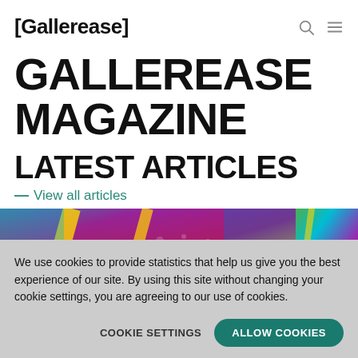[Gallerease]
GALLEREASE MAGAZINE
LATEST ARTICLES
— View all articles
[Figure (photo): Colorful textile/mosaic artwork image strip with overlay text 'GALLEREASE THE...' and a partial second image 'TH...']
We use cookies to provide statistics that help us give you the best experience of our site. By using this site without changing your cookie settings, you are agreeing to our use of cookies.
COOKIE SETTINGS   ALLOW COOKIES